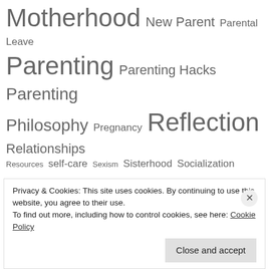Motherhood New Parent Parental Leave Parenting Parenting Hacks Parenting Philosophy Pregnancy Reflection Relationships Resources self-care Sexism Sisterhood Socialization Support the village toddlers Uncategorized women's bodies Working Parent Worry & Anxiety
Previous Posts
Privacy & Cookies: This site uses cookies. By continuing to use this website, you agree to their use. To find out more, including how to control cookies, see here: Cookie Policy
Close and accept